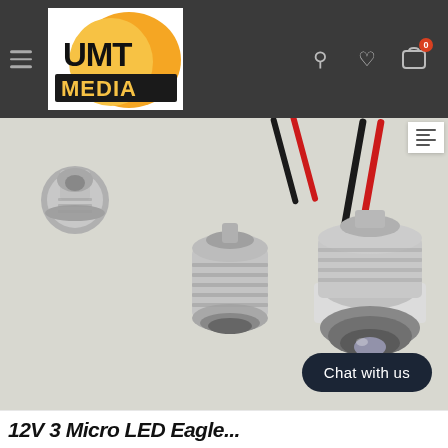[Figure (logo): UMT Media logo with orange and yellow swoosh background and black bold text]
[Figure (photo): Product photo of small LED spotlight modules with metal threaded housings and black/red wires on grey background]
Chat with us
12V 3 Micro LED Eagle...